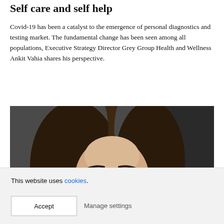Self care and self help
Covid-19 has been a catalyst to the emergence of personal diagnostics and testing market. The fundamental change has been seen among all populations, Executive Strategy Director Grey Group Health and Wellness Ankit Vahia shares his perspective.
[Figure (photo): Close-up portrait of a woman with long dark hair, wearing dark-rimmed glasses and a teal earring, against a dark grey background, smiling slightly.]
This website uses cookies.
Accept
Manage settings